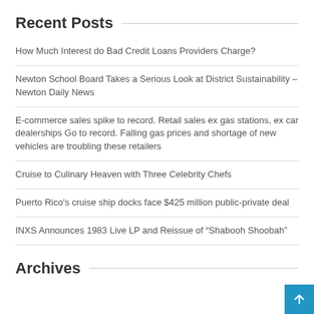Recent Posts
How Much Interest do Bad Credit Loans Providers Charge?
Newton School Board Takes a Serious Look at District Sustainability – Newton Daily News
E-commerce sales spike to record. Retail sales ex gas stations, ex car dealerships Go to record. Falling gas prices and shortage of new vehicles are troubling these retailers
Cruise to Culinary Heaven with Three Celebrity Chefs
Puerto Rico's cruise ship docks face $425 million public-private deal
INXS Announces 1983 Live LP and Reissue of “Shabooh Shoobah”
Archives